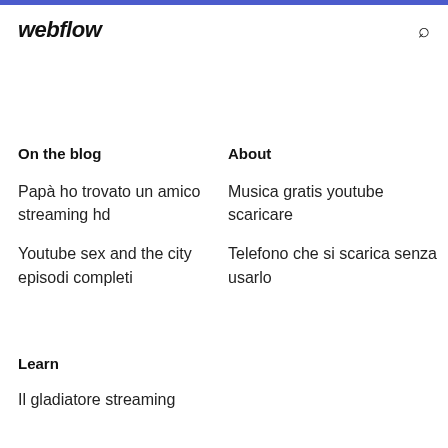webflow
On the blog
About
Papà ho trovato un amico streaming hd
Musica gratis youtube scaricare
Youtube sex and the city episodi completi
Telefono che si scarica senza usarlo
Learn
Il gladiatore streaming